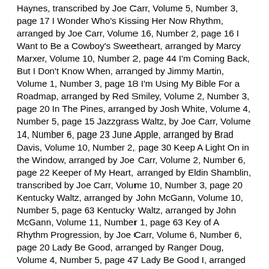Haynes, transcribed by Joe Carr, Volume 5, Number 3, page 17 I Wonder Who's Kissing Her Now Rhythm, arranged by Joe Carr, Volume 16, Number 2, page 16 I Want to Be a Cowboy's Sweetheart, arranged by Marcy Marxer, Volume 10, Number 2, page 44 I'm Coming Back, But I Don't Know When, arranged by Jimmy Martin, Volume 1, Number 3, page 18 I'm Using My Bible For a Roadmap, arranged by Red Smiley, Volume 2, Number 3, page 20 In The Pines, arranged by Josh White, Volume 4, Number 5, page 15 Jazzgrass Waltz, by Joe Carr, Volume 14, Number 6, page 23 June Apple, arranged by Brad Davis, Volume 10, Number 2, page 30 Keep A Light On in the Window, arranged by Joe Carr, Volume 2, Number 6, page 22 Keeper of My Heart, arranged by Eldin Shamblin, transcribed by Joe Carr, Volume 10, Number 3, page 20 Kentucky Waltz, arranged by John McGann, Volume 10, Number 5, page 63 Kentucky Waltz, arranged by John McGann, Volume 11, Number 1, page 63 Key of A Rhythm Progression, by Joe Carr, Volume 6, Number 6, page 20 Lady Be Good, arranged by Ranger Doug, Volume 4, Number 5, page 47 Lady Be Good I, arranged by John McGann, Volume 7, Number 6, page 71 Lady Be Good II, arranged by John McGann, Volume 8, Number 1, page 66 Leather Britches, arranged by Nick Forster, Volume 5, Number 2, page 22 Leaving Home, arranged by Tom Paley, transcribed by Dix